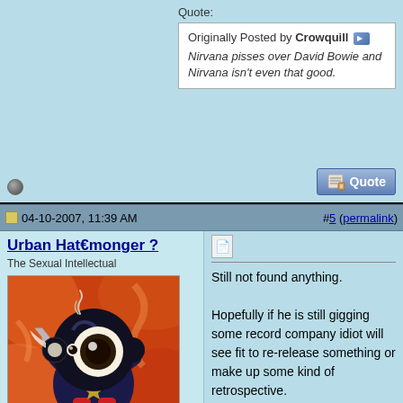Quote:
Originally Posted by Crowquill
Nirvana pisses over David Bowie and Nirvana isn't even that good.
[Figure (screenshot): Quote button with pen icon]
04-10-2007, 11:39 AM
#5 (permalink)
Urban Hat€monger ?
The Sexual Intellectual
[Figure (illustration): Colorful cartoon Mickey Mouse-like character with a large eye, holding a martini glass, on red/orange swirling background]
Still not found anything.

Hopefully if he is still gigging some record company idiot will see fit to re-release something or make up some kind of retrospective.
[Figure (illustration): Small image icon (broken/placeholder)]
Urb's RYM Stuff
Most people call their soul to